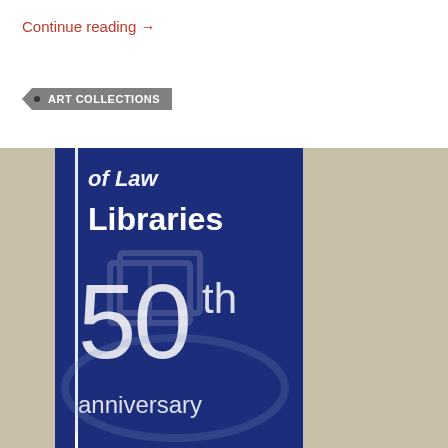Continue reading →
ART COLLECTIONS
[Figure (photo): Photo of a dark blue library banner/sign displaying 'of Law Libraries' with '50th anniversary' text and a book graphic, mounted against a beige/cream wall]